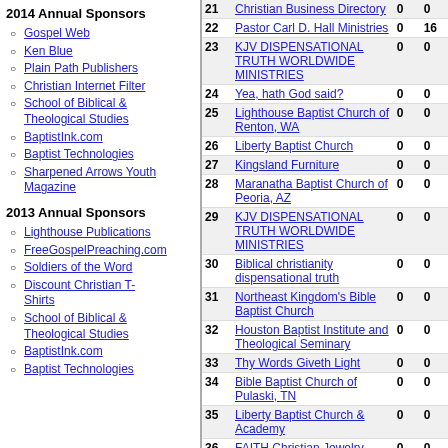2014 Annual Sponsors
Gospel Web
Ken Blue
Plain Path Publishers
Christian Internet Filter
School of Biblical & Theological Studies
BaptistInk.com
Baptist Technologies
Sharpened Arrows Youth Magazine
2013 Annual Sponsors
Lighthouse Publications
FreeGospelPreaching.com
Soldiers of the Word
Discount Christian T-Shirts
School of Biblical & Theological Studies
BaptistInk.com
Baptist Technologies
| # | Site | Col3 | Col4 |
| --- | --- | --- | --- |
| 21 | Christian Business Directory | 0 | 0 |
| 22 | Pastor Carl D. Hall Ministries | 0 | 16 |
| 23 | KJV DISPENSATIONAL TRUTH WORLDWIDE MINISTRIES | 0 | 0 |
| 24 | Yea, hath God said? | 0 | 0 |
| 25 | Lighthouse Baptist Church of Renton, WA | 0 | 0 |
| 26 | Liberty Baptist Church | 0 | 0 |
| 27 | Kingsland Furniture | 0 | 0 |
| 28 | Maranatha Baptist Church of Peoria, AZ | 0 | 0 |
| 29 | KJV DISPENSATIONAL TRUTH WORLDWIDE MINISTRIES | 0 | 0 |
| 30 | Biblical christianity dispensational truth | 0 | 0 |
| 31 | Northeast Kingdom's Bible Baptist Church | 0 | 0 |
| 32 | Houston Baptist Institute and Theological Seminary | 0 | 0 |
| 33 | Thy Words Giveth Light | 0 | 0 |
| 34 | Bible Baptist Church of Pulaski, TN | 0 | 0 |
| 35 | Liberty Baptist Church & Academy | 0 | 0 |
| 36 | FAITH Christian Jewelry | 0 | 0 |
| 37 | Northside Baptist Church | 0 | 0 |
| 38 | Elmira Baptist Church | 0 | 0 |